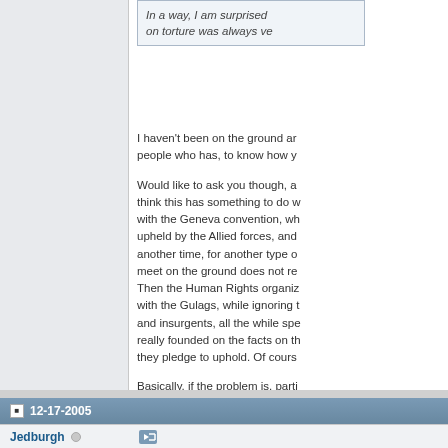In a way, I am surprised on torture was always ve
I haven't been on the ground ar people who has, to know how y

Would like to ask you though, a think this has something to do w with the Geneva convention, wh upheld by the Allied forces, and another time, for another type o meet on the ground does not re Then the Human Rights organiz with the Gulags, while ignoring t and insurgents, all the while spe really founded on the facts on th they pledge to uphold. Of cours

Basically, if the problem is, parti how they motivate it?

Martin
12-17-2005
Jedburgh